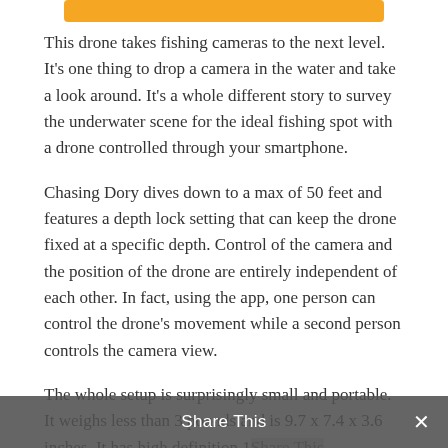[Figure (other): Orange rounded rectangle button/bar at top center of page]
This drone takes fishing cameras to the next level. It’s one thing to drop a camera in the water and take a look around. It’s a whole different story to survey the underwater scene for the ideal fishing spot with a drone controlled through your smartphone.
Chasing Dory dives down to a max of 50 feet and features a depth lock setting that can keep the drone fixed at a specific depth. Control of the camera and the position of the drone are entirely independent of each other. In fact, using the app, one person can control the drone’s movement while a second person controls the camera view.
The whole setup is surprisingly small and portable. It weighs less than 3 pounds and is 9.7 x 7.4 x 3.6 inches. It has high definition 1080 resolution, which
Share This ×